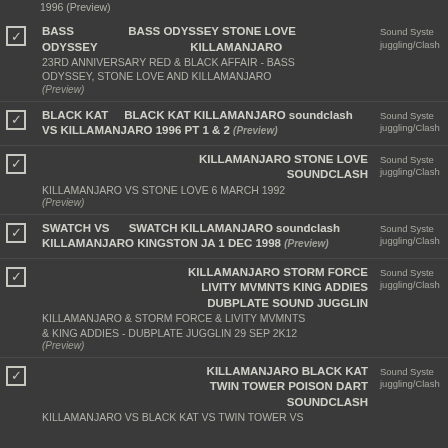BASS ODYSSEY | BASS ODYSSEY STONE LOVE KILLAMANJARO 23RD ANNIVERSARY RED & BLACK AFFAIR - BASS ODYSSEY, STONE LOVE AND KILLAMANJARO (Preview) | Sound System juggling/Clash
BLACK KAT VS KILLAMANJARO | BLACK KAT KILLAMANJARO soundclash VS KILLAMANJARO 1996 PT 1 & 2 (Preview) | Sound System juggling/Clash
KILLAMANJARO STONE LOVE SOUNDCLASH | KILLAMANJARO VS STONE LOVE 6 MARCH 1992 (Preview) | Sound System juggling/Clash
SWATCH VS KILLAMANJARO | SWATCH KILLAMANJARO soundclash KINGSTON JA 1 DEC 1998 (Preview) | Sound System juggling/Clash
KILLAMANJARO STORM FORCE LIVITY MVMNTS KING ADDIES DUBPLATE SOUND JUGGLIN | KILLAMANJARO & STORM FORCE & LIVITY MVMNTS & KING ADDIES - DUBPLATE JUGGLIN 29 SEP 2K12 (Preview) | Sound System juggling/Clash
KILLAMANJARO BLACK KAT TWIN TOWER POISON DART SOUNDCLASH | KILLAMANJARO VS BLACK KAT VS TWIN TOWER VS... | Sound System juggling/Clash